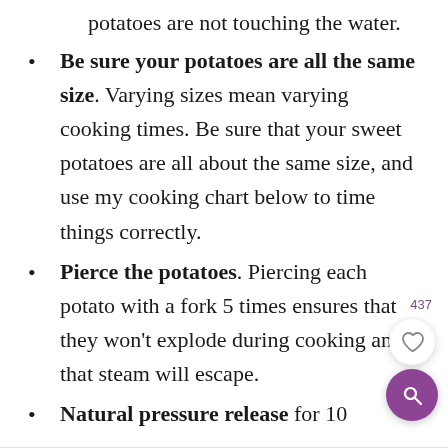potatoes are not touching the water.
Be sure your potatoes are all the same size. Varying sizes mean varying cooking times. Be sure that your sweet potatoes are all about the same size, and use my cooking chart below to time things correctly.
Pierce the potatoes. Piercing each potato with a fork 5 times ensures that they won't explode during cooking and that steam will escape.
Natural pressure release for 10
minutes. Then release any remaining